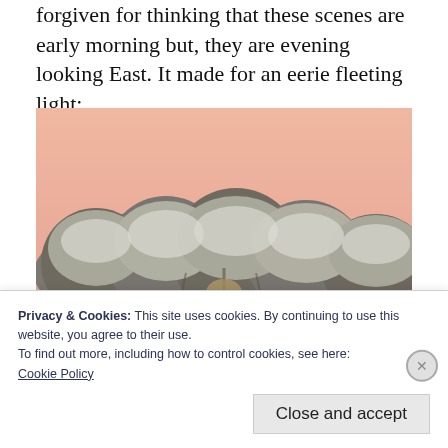forgiven for thinking that these scenes are early morning but, they are evening looking East. It made for an eerie fleeting light:
[Figure (photo): Winter landscape photograph showing frost-covered trees and shrubs under a pink/salmon evening sky, looking east. Snow or heavy frost covers the ground and vegetation.]
Privacy & Cookies: This site uses cookies. By continuing to use this website, you agree to their use.
To find out more, including how to control cookies, see here:
Cookie Policy